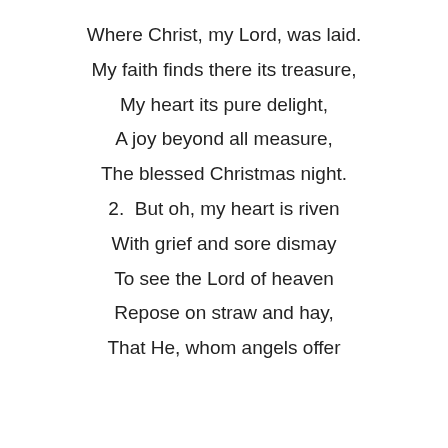Where Christ, my Lord, was laid.
My faith finds there its treasure,
My heart its pure delight,
A joy beyond all measure,
The blessed Christmas night.
2.  But oh, my heart is riven
With grief and sore dismay
To see the Lord of heaven
Repose on straw and hay,
That He, whom angels offer